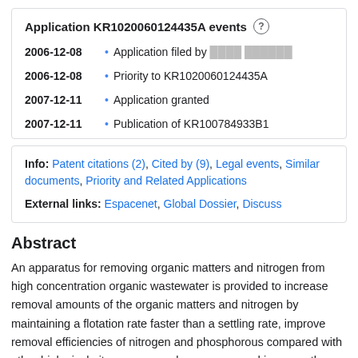Application KR1020060124435A events
2006-12-08 • Application filed by [redacted]
2006-12-08 • Priority to KR1020060124435A
2007-12-11 • Application granted
2007-12-11 • Publication of KR100784933B1
Info: Patent citations (2), Cited by (9), Legal events, Similar documents, Priority and Related Applications
External links: Espacenet, Global Dossier, Discuss
Abstract
An apparatus for removing organic matters and nitrogen from high concentration organic wastewater is provided to increase removal amounts of the organic matters and nitrogen by maintaining a flotation rate faster than a settling rate, improve removal efficiencies of nitrogen and phosphorous compared with other biological nitrogen removal processes, and increase the organic carbon